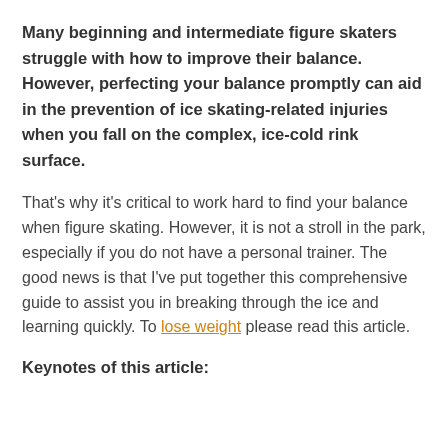Many beginning and intermediate figure skaters struggle with how to improve their balance. However, perfecting your balance promptly can aid in the prevention of ice skating-related injuries when you fall on the complex, ice-cold rink surface.
That's why it's critical to work hard to find your balance when figure skating. However, it is not a stroll in the park, especially if you do not have a personal trainer. The good news is that I've put together this comprehensive guide to assist you in breaking through the ice and learning quickly. To lose weight please read this article.
Keynotes of this article: